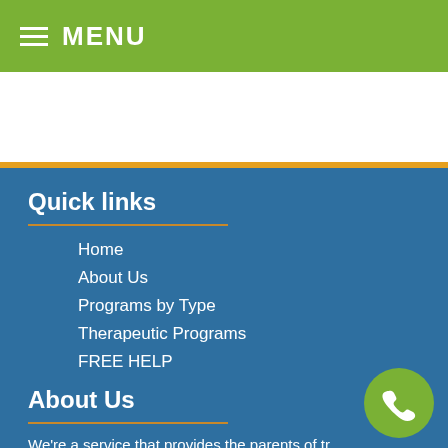☰ MENU
Quick links
Home
About Us
Programs by Type
Therapeutic Programs
FREE HELP
About Us
We're a service that provides the parents of tr… teens with information about therapeutic residential